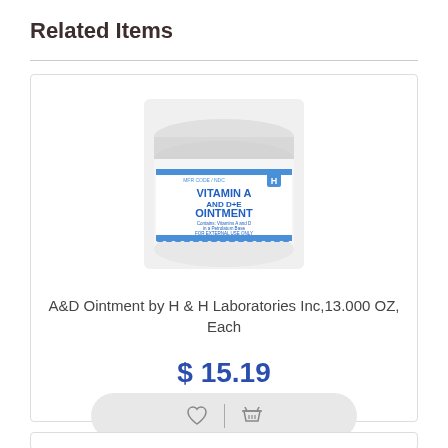Related Items
[Figure (photo): White jar of Vitamin A and D+E Ointment by H&H Laboratories]
A&D Ointment by H & H Laboratories Inc,13.000 OZ, Each
$ 15.19